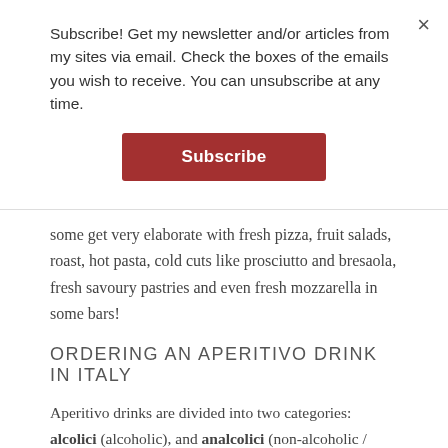Subscribe! Get my newsletter and/or articles from my sites via email. Check the boxes of the emails you wish to receive. You can unsubscribe at any time.
[Figure (other): Red Subscribe button]
some get very elaborate with fresh pizza, fruit salads, roast, hot pasta, cold cuts like prosciutto and bresaola, fresh savoury pastries and even fresh mozzarella in some bars!
ORDERING AN APERITIVO DRINK IN ITALY
Aperitivo drinks are divided into two categories: alcolici (alcoholic), and analcolici (non-alcoholic / “virgin”) drinks. Analcolici drinks can range from a soft drink like Coca Cola to delicious fruit juice cocktails (aperitivo analcolico alla frutta – pictured below) to a non-alcoholic bitter like Sanbitter.